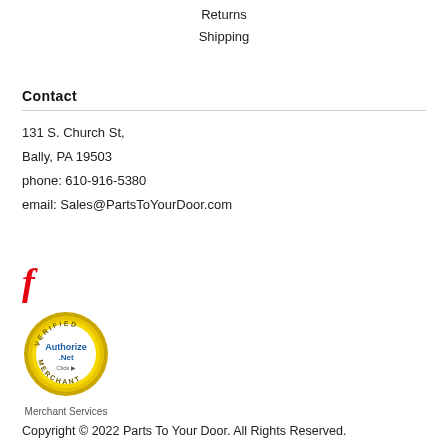Returns
Shipping
Contact
131 S. Church St,
Bally, PA 19503
phone: 610-916-5380
email: Sales@PartsToYourDoor.com
[Figure (logo): Facebook logo letter f in red italic]
[Figure (logo): Authorize.Net Verified Merchant Services badge - circular gold seal with Authorize.Net logo in blue and text Click, Merchant Services below]
Copyright © 2022 Parts To Your Door. All Rights Reserved.